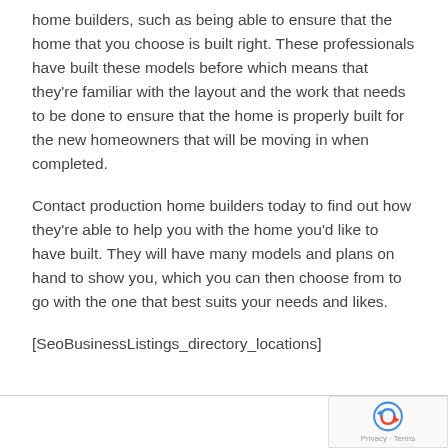home builders, such as being able to ensure that the home that you choose is built right. These professionals have built these models before which means that they're familiar with the layout and the work that needs to be done to ensure that the home is properly built for the new homeowners that will be moving in when completed.
Contact production home builders today to find out how they're able to help you with the home you'd like to have built. They will have many models and plans on hand to show you, which you can then choose from to go with the one that best suits your needs and likes.
[SeoBusinessListings_directory_locations]